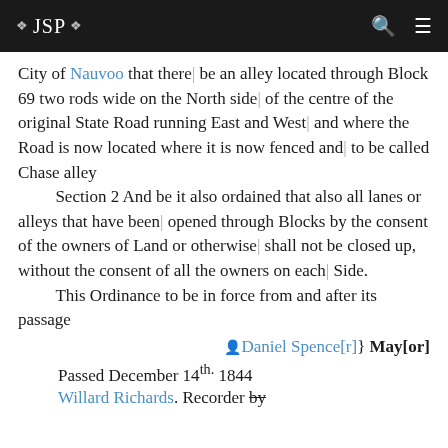❖ JSP ❖
City of Nauvoo that there be an alley located through Block 69 two rods wide on the North side of the centre of the original State Road running East and West and where the Road is now located where it is now fenced and to be called Chase alley
    Section 2 And be it also ordained that also all lanes or alleys that have been opened through Blocks by the consent of the owners of Land or otherwise shall not be closed up, without the consent of all the owners on each Side.
    This Ordinance to be in force from and after its passage
🖊 Daniel Spence[r]} May[or]
Passed December 14th. 1844
Willard Richards. Recorder by